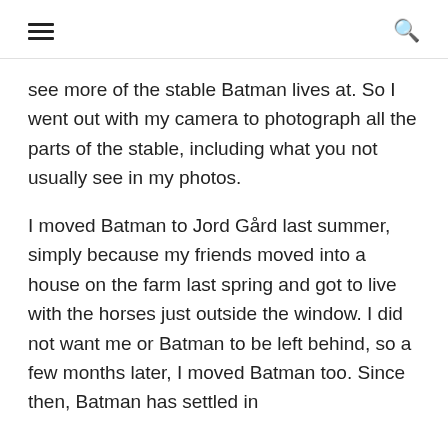[hamburger menu] [search icon]
see more of the stable Batman lives at. So I went out with my camera to photograph all the parts of the stable, including what you not usually see in my photos.
I moved Batman to Jord Gård last summer, simply because my friends moved into a house on the farm last spring and got to live with the horses just outside the window. I did not want me or Batman to be left behind, so a few months later, I moved Batman too. Since then, Batman has settled in